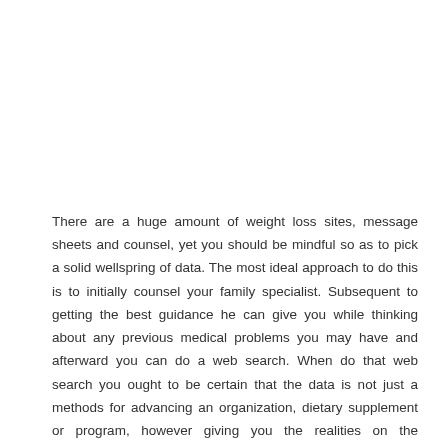There are a huge amount of weight loss sites, message sheets and counsel, yet you should be mindful so as to pick a solid wellspring of data. The most ideal approach to do this is to initially counsel your family specialist. Subsequent to getting the best guidance he can give you while thinking about any previous medical problems you may have and afterward you can do a web search. When do that web search you ought to be certain that the data is not just a methods for advancing an organization, dietary supplement or program, however giving you the realities on the advantages of specific nourishments and exercise and over at this website https://gazette.com/sponsored/metabofix-reviews-real-weight-loss-results-or-a-fraud/article_cec0d45a-d457-11eb-8f64-bf750d9aaa5b.html. There are eats less on the net that incorporate that for example, the treat diet. You ought not simply